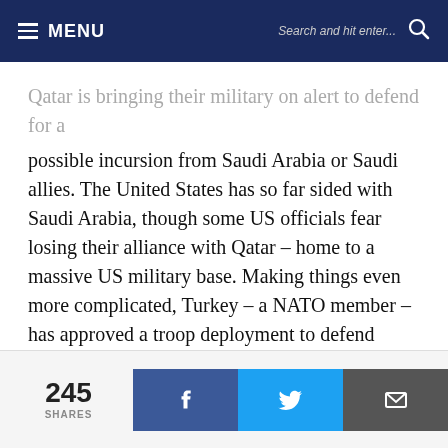MENU | Search and hit enter...
Qatar is bringing their military on alert to defend for a possible incursion from Saudi Arabia or Saudi allies. The United States has so far sided with Saudi Arabia, though some US officials fear losing their alliance with Qatar – home to a massive US military base. Making things even more complicated, Turkey – a NATO member – has approved a troop deployment to defend Qatar.
245 SHARES | Facebook share | Twitter share | Email share